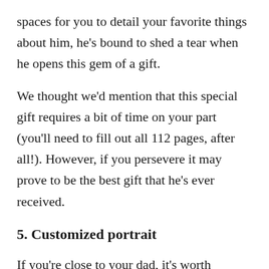spaces for you to detail your favorite things about him, he's bound to shed a tear when he opens this gem of a gift.
We thought we'd mention that this special gift requires a bit of time on your part (you'll need to fill out all 112 pages, after all!). However, if you persevere it may prove to be the best gift that he's ever received.
5. Customized portrait
If you're close to your dad, it's worth investing in a wonderful Daddy-Daughter